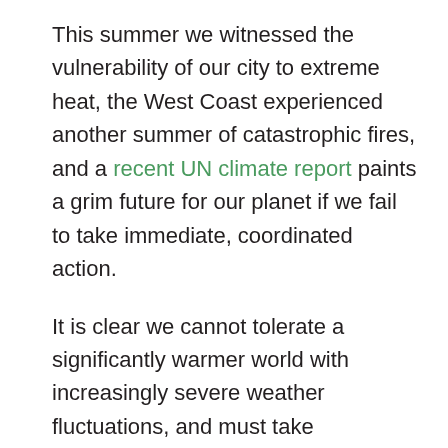This summer we witnessed the vulnerability of our city to extreme heat, the West Coast experienced another summer of catastrophic fires, and a recent UN climate report paints a grim future for our planet if we fail to take immediate, coordinated action.
It is clear we cannot tolerate a significantly warmer world with increasingly severe weather fluctuations, and must take comprehensive action at all levels of government, business and society to address these threats. The next decade is critical for setting a new course and preventing the worst effects of climate change. Seattle must set an example as America's leading climate-forward city – and we cannot leave anyone behind.